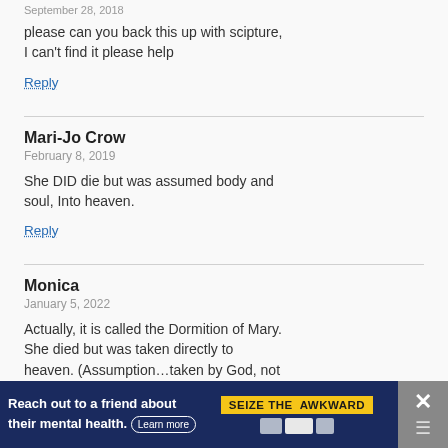September 28, 2018
please can you back this up with scipture, I can't find it please help
Reply
Mari-Jo Crow
February 8, 2019
She DID die but was assumed body and soul, Into heaven.
Reply
Monica
January 5, 2022
Actually, it is called the Dormition of Mary. She died but was taken directly to heaven. (Assumption...taken by God, not ascending on her own volition.) God is
[Figure (infographic): Advertisement banner: 'Reach out to a friend about their mental health. Learn more' with 'SEIZE THE AWKWARD' yellow badge and logos, with close button on right.]